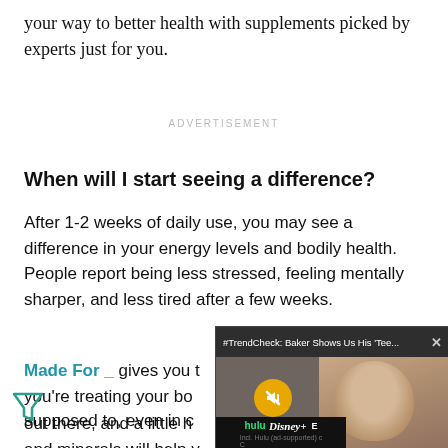your way to better health with supplements picked by experts just for you.
ADVERTISEMENT
When will I start seeing a difference?
After 1-2 weeks of daily use, you may see a difference in your energy levels and bodily health. People report being less stressed, feeling mentally sharper, and less tired after a few weeks.
Made For _ gives you the tools you're treating your bo... out there, and a little h... and minerals will help y... supposed to, even in c... than-... studer... some...
[Figure (screenshot): Video overlay popup titled '#TrendCheck: Baker Shows Us His Tee...' with a close button (X), showing a thumbnail of a young man, a mute button icon, and a Hulu/Disney+/ESPN streaming advertisement bar at the bottom.]